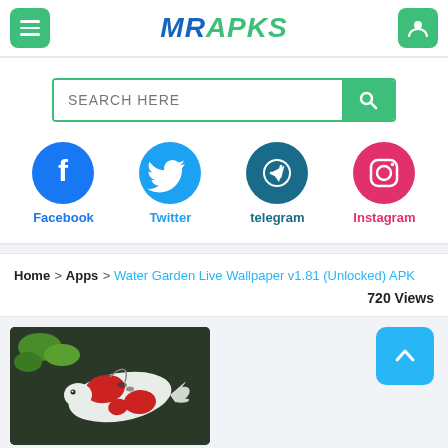MRAPKS
SEARCH HERE
[Figure (logo): Social media icons: Facebook, Twitter, Telegram, Instagram with labels]
Home > Apps > Water Garden Live Wallpaper v1.81 (Unlocked) APK
720 Views
[Figure (photo): Koi fish swimming in dark water with green plants]